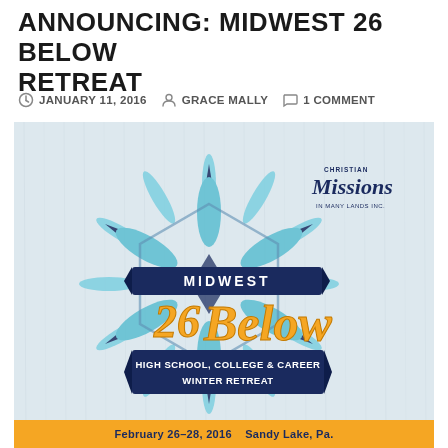ANNOUNCING: MIDWEST 26 BELOW RETREAT
JANUARY 11, 2016   GRACE MALLY   1 COMMENT
[Figure (illustration): Midwest 26 Below High School, College & Career Winter Retreat promotional poster with snowflake design, Christian Missions in Many Lands Inc. logo, orange and navy color scheme on light wooden/textured background.]
February 26-28, 2016   Sandy Lake, Pa.